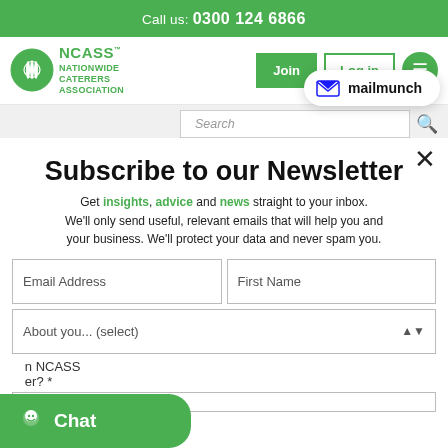Call us: 0300 124 6866
[Figure (logo): NCASS Nationwide Caterers Association logo with green circle and fork/knife icon]
[Figure (logo): Mailmunch logo badge]
Subscribe to our Newsletter
Get insights, advice and news straight to your inbox. We'll only send useful, relevant emails that will help you and your business. We'll protect your data and never spam you.
Email Address | First Name (form fields)
About you... (select) (dropdown)
NCASS member? *
[Figure (screenshot): Chat button with alien/chat icon]